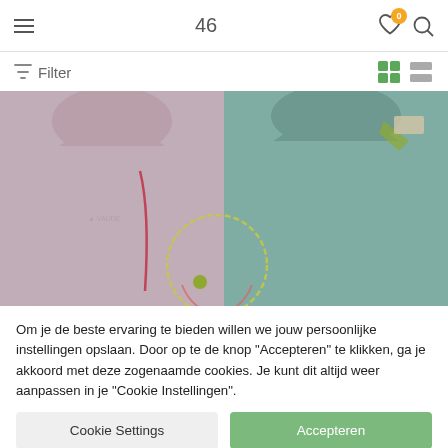46
Filter
[Figure (photo): Two children's rain jackets side by side: left one in mauve/pink-grey color, right one in teal/mint green color, both with hoods]
Om je de beste ervaring te bieden willen we jouw persoonlijke instellingen opslaan. Door op te de knop "Accepteren" te klikken, ga je akkoord met deze zogenaamde cookies. Je kunt dit altijd weer aanpassen in je "Cookie Instellingen".
Cookie Settings
Accepteren